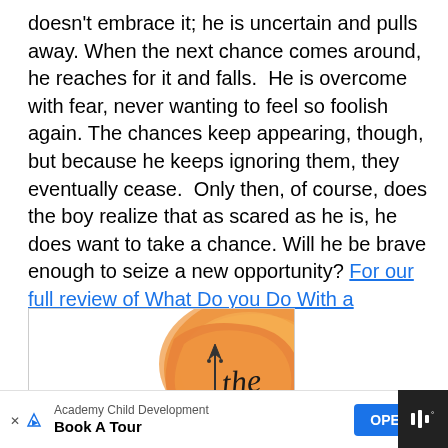doesn't embrace it; he is uncertain and pulls away. When the next chance comes around, he reaches for it and falls.  He is overcome with fear, never wanting to feel so foolish again. The chances keep appearing, though, but because he keeps ignoring them, they eventually cease.  Only then, of course, does the boy realize that as scared as he is, he does want to take a chance. Will he be brave enough to seize a new opportunity? For our full review of What Do you Do With a Chance, click here!
[Figure (illustration): Partial book cover illustration showing an orange watercolor blob shape with the word 'the' written in cursive script and a small crown/wand decoration]
Academy Child Development
Book A Tour
OPEN